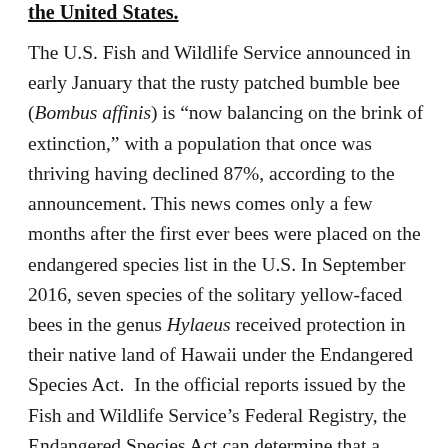the United States.
The U.S. Fish and Wildlife Service announced in early January that the rusty patched bumble bee (Bombus affinis) is “now balancing on the brink of extinction,” with a population that once was thriving having declined 87%, according to the announcement. This news comes only a few months after the first ever bees were placed on the endangered species list in the U.S. In September 2016, seven species of the solitary yellow-faced bees in the genus Hylaeus received protection in their native land of Hawaii under the Endangered Species Act. In the official reports issued by the Fish and Wildlife Service’s Federal Registry, the Endangered Species Act can determine that a species is endangered or threatened based on any of five factors: (A) The present or threatened destruction, modification, or curtailment of its habitat or range; (B) overutilization for commercial, recreational, scientific, or educational